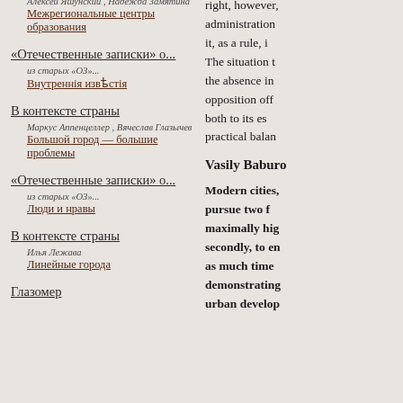Алексей Яшунский , Надежда Замятина
Межрегиональные центры образования
«Отечественные записки» о...
из старых «ОЗ»...
Внутреннія извѣстія
В контексте страны
Маркус Аппенцеллер , Вячеслав Глазычев
Большой город — большие проблемы
«Отечественные записки» о...
из старых «ОЗ»...
Люди и нравы
В контексте страны
Илья Лежава
Линейные города
Глазомер
right, however, administration it, as a rule, i The situation t the absence in opposition off both to its es practical balan
Vasily Baburo
Modern cities, pursue two f maximally hig secondly, to en as much time demonstrating urban develop